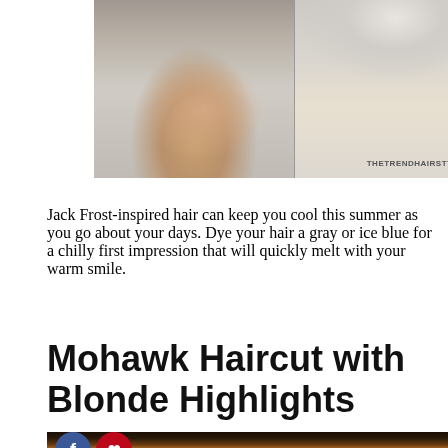[Figure (photo): Side-by-side photos of a woman with a silver/gray mohawk undercut hairstyle, showing side profile (left) and back of head (right). Watermark reads THETRENDHAIRSTYLE.COM]
Jack Frost-inspired hair can keep you cool this summer as you go about your days. Dye your hair a gray or ice blue for a chilly first impression that will quickly melt with your warm smile.
Mohawk Haircut with Blonde Highlights
[Figure (photo): Partial photo of blonde highlighted hair, with social media share buttons (Facebook and Pinterest) overlaid at the bottom left]